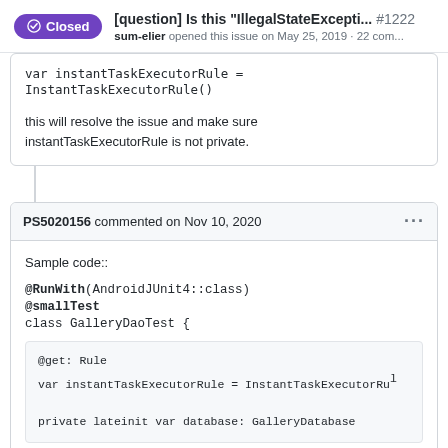[question] Is this "IllegalStateExcepti... #1222
sum-elier opened this issue on May 25, 2019 · 22 com...
var instantTaskExecutorRule = InstantTaskExecutorRule()

this will resolve the issue and make sure instantTaskExecutorRule is not private.
PS5020156 commented on Nov 10, 2020
Sample code::

@RunWith(AndroidJUnit4::class)
@smallTest
class GalleryDaoTest {

    @get: Rule
    var instantTaskExecutorRule = InstantTaskExecutorRu...

    private lateinit var database: GalleryDatabase